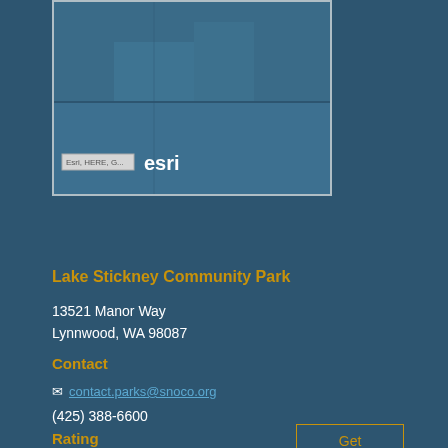[Figure (map): A map screenshot with Esri, HERE, G... attribution label and esri logo in the bottom area of the map panel]
Get Directions
Lake Stickney Community Park
13521 Manor Way
Lynnwood, WA 98087
Contact
contact.parks@snoco.org
(425) 388-6600
Rating